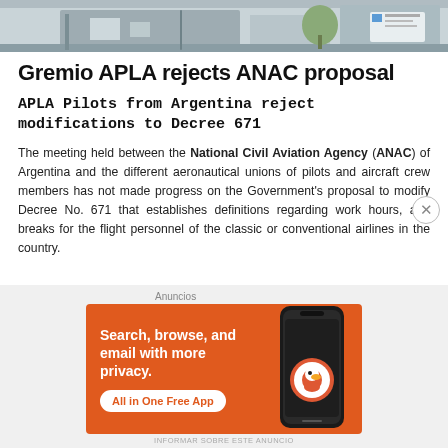[Figure (photo): Partial view of an airport or aviation facility building exterior, showing a grey structure with a tree and signage visible.]
Gremio APLA rejects ANAC proposal
APLA Pilots from Argentina reject modifications to Decree 671
The meeting held between the National Civil Aviation Agency (ANAC) of Argentina and the different aeronautical unions of pilots and aircraft crew members has not made progress on the Government's proposal to modify Decree No. 671 that establishes definitions regarding work hours, and breaks for the flight personnel of the classic or conventional airlines in the country.
[Figure (screenshot): DuckDuckGo advertisement banner with orange background. Text reads: 'Search, browse, and email with more privacy. All in One Free App'. Shows a phone with DuckDuckGo logo.]
INFORMAR SOBRE ESTE ANUNCIO